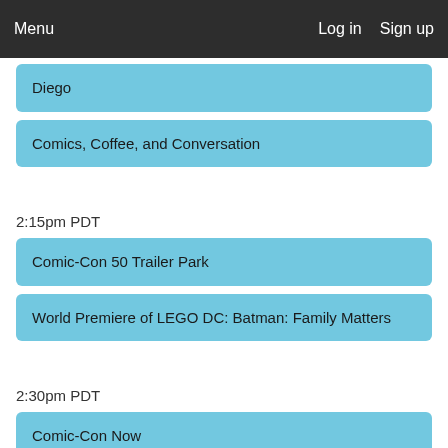Menu   Log in   Sign up
Diego
Comics, Coffee, and Conversation
2:15pm PDT
Comic-Con 50 Trailer Park
World Premiere of LEGO DC: Batman: Family Matters
2:30pm PDT
Comic-Con Now
Comics Arts Conference Session #16: The Culture of